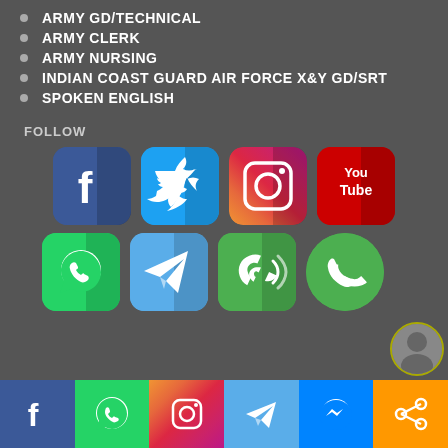ARMY GD/TECHNICAL
ARMY CLERK
ARMY NURSING
INDIAN COAST GUARD AIR FORCE X&Y GD/SRT
SPOKEN ENGLISH
FOLLOW
[Figure (infographic): Social media icons row 1: Facebook, Twitter, Instagram, YouTube]
[Figure (infographic): Social media icons row 2: WhatsApp, Telegram, Phone (vibrate), Phone (green circle)]
[Figure (infographic): Footer bar with social media icons: Facebook, WhatsApp, Instagram, Telegram, Messenger, Share]